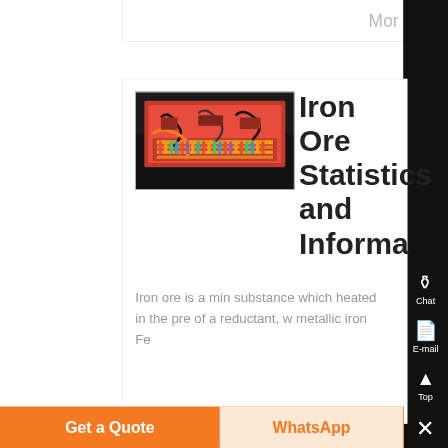Mor
[Figure (photo): Photo of electronic/industrial equipment with red and orange components, circuit boards, cables visible from above]
Iron Ore Statistics and Information
Iron ore is a min substance which heated in the pre of a reductant, w metallic iron Fe
Chat
E-mail
Top
Get a Quote
WhatsApp